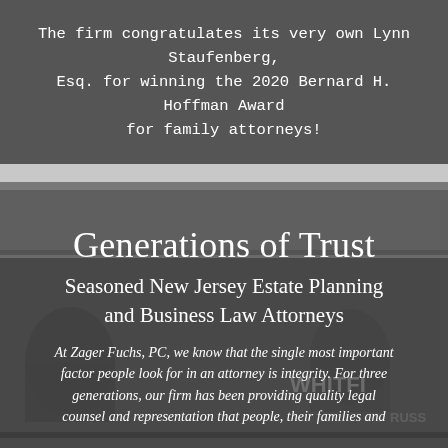The firm congratulates its very own Lynn Staufenberg, Esq. for winning the 2020 Bernard H. Hoffman Award for family attorneys!
[Figure (photo): Grayscale photo of a historic building facade with architectural details, serving as the hero section background for a law firm website]
Generations of Trust
Seasoned New Jersey Estate Planning and Business Law Attorneys
At Zager Fuchs, PC, we know that the single most important factor people look for in an attorney is integrity. For three generations, our firm has been providing quality legal counsel and representation that people, their families and